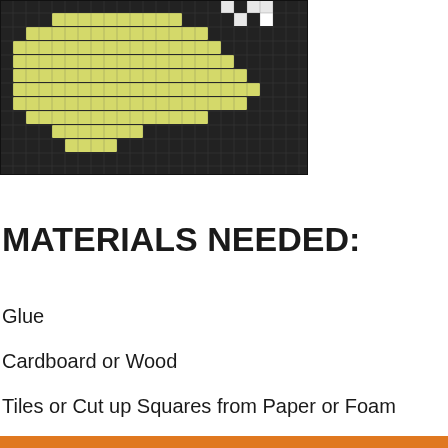[Figure (photo): A mosaic artwork made of small square tiles arranged in a pixel pattern. The tiles are black and yellow-green colored, showing a pixelated design on a dark background.]
MATERIALS NEEDED:
Glue
Cardboard or Wood
Tiles or Cut up Squares from Paper or Foam